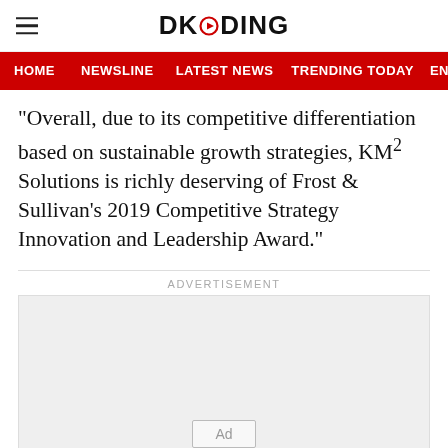DKODING
HOME   NEWSLINE   LATEST NEWS   TRENDING TODAY   ENT
“Overall, due to its competitive differentiation based on sustainable growth strategies, KM² Solutions is richly deserving of Frost & Sullivan’s 2019 Competitive Strategy Innovation and Leadership Award.”
ADVERTISEMENT